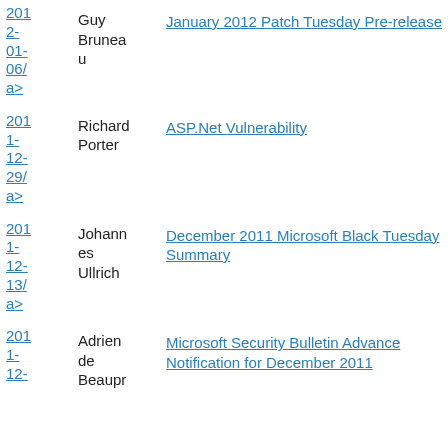2012-01-06/ a> | Guy Bruneau | January 2012 Patch Tuesday Pre-release
2011-12-29/ a> | Richard Porter | ASP.Net Vulnerability
2011-12-13/ a> | Johannes Ullrich | December 2011 Microsoft Black Tuesday Summary
2011-12- | Adrien de Beaupr | Microsoft Security Bulletin Advance Notification for December 2011